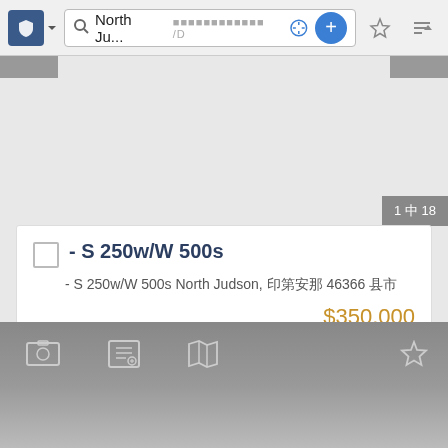[Figure (screenshot): Mobile app toolbar with shield icon, search bar showing 'North Ju...' text and placeholder ID field, compass icon, plus button, star icon, and sort icon]
1 中 18
- S 250w/W 500s
- S 250w/W 500s North Judson, 印第安那 46366 县市
$350,000
[Figure (screenshot): Bottom navigation bar with photo icon, contact icon, map icon, and star/favorite icon on dark gray gradient background]